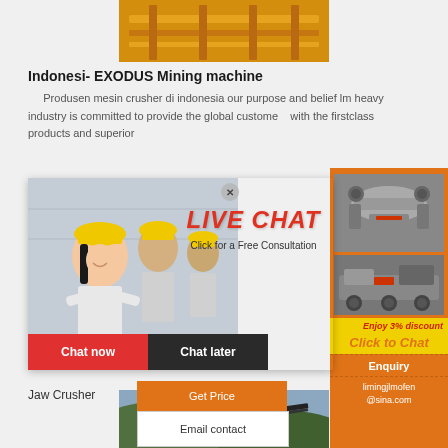[Figure (photo): Industrial yellow mining/crane machinery overhead shot]
Indonesi- EXODUS Mining machine
Produsen mesin crusher di indonesia our purpose and belief lm heavy industry is committed to provide the global customers with the firstclass products and superior
[Figure (photo): Live chat popup with smiling woman in hard hat and colleagues; text: LIVE CHAT, Click for a Free Consultation. Chat now and Chat later buttons.]
[Figure (photo): Right orange sidebar with mining machine photos, Enjoy 3% discount, Click to Chat, Enquiry, limingjlmofen@sina.com]
Jaw Crusher
Get Price
Email contact
[Figure (photo): Bottom landscape photo of mining conveyor or pipeline on hillside]